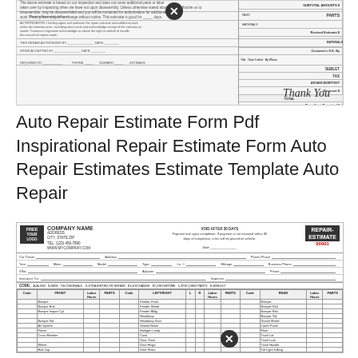[Figure (other): Scanned auto repair estimate form with close/delete icon overlay, showing partially visible form fields for subtotals, parts, materials, labor, tax, total, and a 'Thank You' signature at bottom right.]
Auto Repair Estimate Form Pdf Inspirational Repair Estimate Form Auto Repair Estimates Estimate Template Auto Repair
[Figure (other): Auto repair estimate form template showing company name/address header with FREE YOUR LOGO placeholder, VOID AFTER 30 DAYS notice, REPAIR-ESTIMATE 00001 label, car owner fields, year/make/model/type fields, VIN/adjuster fields, insurance/inspector fields, CODE key for A-ALIGN/N-NEW/OH-OVERHAUL/S-STRAIGHTEN OR REPAIR/EX-EXCHANGE/RC-RECHROME/U-FOR USED PARTS/R-REBUILT, and a multi-column parts table with FRONT, LEFT/RIGHT, and REAR sections listing auto body parts with Labor Hours and Parts columns.]